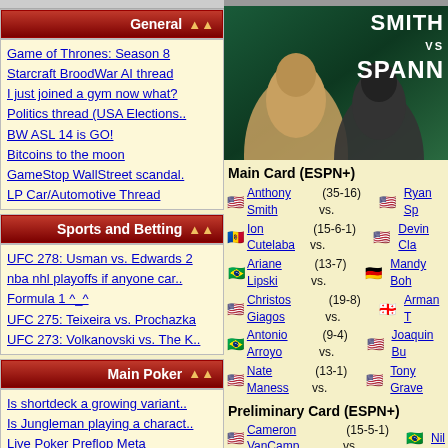General
Game of Thrones: Season 8
Starcraft BroodWar AI thread
I just joined a gym now what?
Politics thread (USA Elections..
BW ASL 14 is GO!
Bitcoins to the moon
GameStop WallStreet scandal.
LP Car/Automotive Thread
Sports and Betting
UFC 278: Usman vs. Edwards 2
nba nhl playoffs if anyone car..
Formula 1 ^_^
UFC 275: Teixeira vs. Prochazka
UFC 273: Volkanovski vs. The K..
Main Poker
Is shortdeck a growing variant..
Is Jungleman playing a charact..
Live Poker Preflop Meta
Doug Polk and others make a to..
Are AI's better than humaans a..
Hand Discussion
Not for a lack of trying...
[Figure (photo): UFC promotional image for Smith vs Spann fight, showing two fighters facing off with green background and Smith vs Spann text]
Main Card (ESPN+)
Anthony Smith (35-16) vs. Ryan Sp
Ion Cutelaba (15-6-1) vs. Devin Cla
Ariane Lipski (13-7) vs. Mandy Boh
Christos Giagos (19-8) vs. Arman T
Antonio Arroyo (9-4) vs. Joaquin Bu
Nate Maness (13-1) vs. Tony Grave
Preliminary Card (ESPN+)
Cameron VanCamp (15-5-1) vs. Nil
Tafon Nchukwi (5-1) vs. Mike Rodri
Pannie Kianzad (15-5) vs. Raquel P
Dakota Bush (8-3) vs. Zhu Rong (1
Montel Jackson (10-2) vs. JP Buys
Erin Blanchfield (6-1) vs. Sarah Alp
Impa Kasanganay (9-1) vs. Carlsto
Gustavo Lopez (12-6) vs. Heili Alate
Hannah Goldy (5-2) vs. Emily Whit